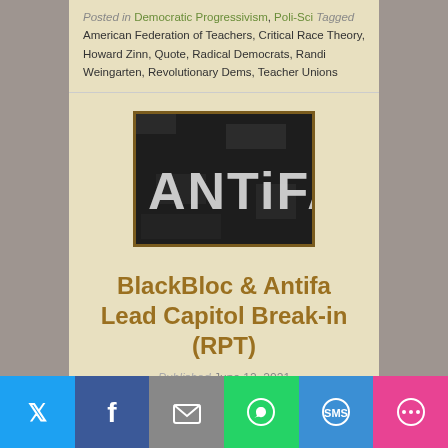Posted in Democratic Progressivism, Poli-Sci Tagged American Federation of Teachers, Critical Race Theory, Howard Zinn, Quote, Radical Democrats, Randi Weingarten, Revolutionary Dems, Teacher Unions
[Figure (photo): Black and white image with the word ANTIFA in tall block letters on a textured background]
BlackBloc & Antifa Lead Capitol Break-in (RPT)
Published June 12, 2021
First and Foremost, all the videos I add
Twitter | Facebook | Email | WhatsApp | SMS | More